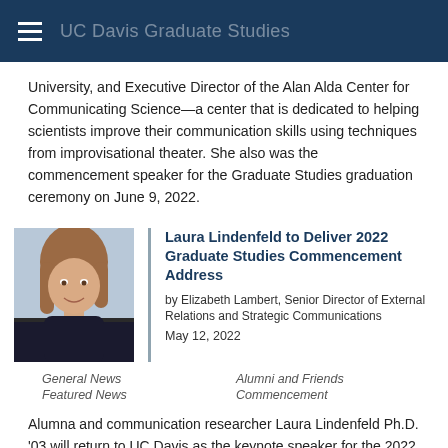UC Davis Graduate Studies
University, and Executive Director of the Alan Alda Center for Communicating Science—a center that is dedicated to helping scientists improve their communication skills using techniques from improvisational theater. She also was the commencement speaker for the Graduate Studies graduation ceremony on June 9, 2022.
[Figure (photo): Portrait photo of Laura Lindenfeld, a woman with shoulder-length reddish-brown hair, smiling, wearing a dark jacket.]
Laura Lindenfeld to Deliver 2022 Graduate Studies Commencement Address
by Elizabeth Lambert, Senior Director of External Relations and Strategic Communications
May 12, 2022
General News
Alumni and Friends
Featured News
Commencement
Alumna and communication researcher Laura Lindenfeld Ph.D. '03 will return to UC Davis as the keynote speaker for the 2022 Graduate Studies Commencement on Thursday, June 9, at the University Credit Union Center.